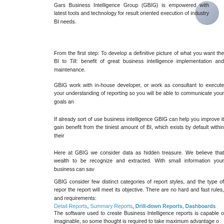[Figure (logo): Circular logo/badge in blue-grey tones, partially visible in top-right corner]
Gars Business Intelligence Group (GBIG) is empowered with latest tools and technology for result oriented execution of industry BI needs.
From the first step: To develop a definitive picture of what you want the BI to Till: benefit of great business intelligence implementation and maintenance.
GBIG work with in-house developer, or work as consultant to execute your understanding of reporting so you will be able to communicate your goals an
If already sort of use business intelligence GBIG can help you improve it gain benefit from the tiniest amount of BI, which exists by default within their
Here at GBIG we consider data as hidden treasure. We believe that wealth to be recognize and extracted. With small information your business can sav
GBIG consider few distinct categories of report styles, and the type of repor the report will meet its objective. There are no hard and fast rules, and requirements:
Detail Reports, Summary Reports, Drill-down Reports, Dashboards
The software used to create Business Intelligence reports is capable o imaginable, so some thought is required to take maximum advantage o